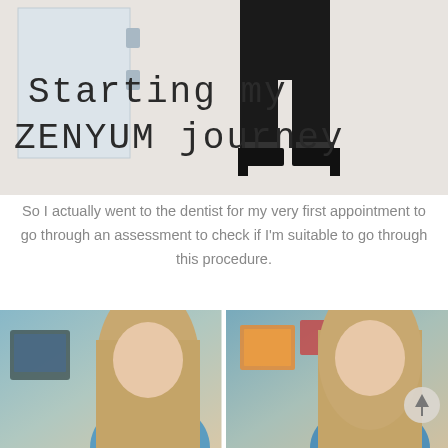[Figure (photo): Composite photo showing lower half of a person in black wide-leg trousers and black platform heels standing by a white door panel, with large handwritten-style text overlay reading 'Starting my ZENYUM journey']
So I actually went to the dentist for my very first appointment to go through an assessment to check if I'm suitable to go through this procedure.
[Figure (photo): Two side-by-side photos of a person with long blonde hair wearing a blue dental bib, seated at a dental consultation, with dental equipment and educational posters visible in the background. A scroll-to-top button is visible in the right photo.]